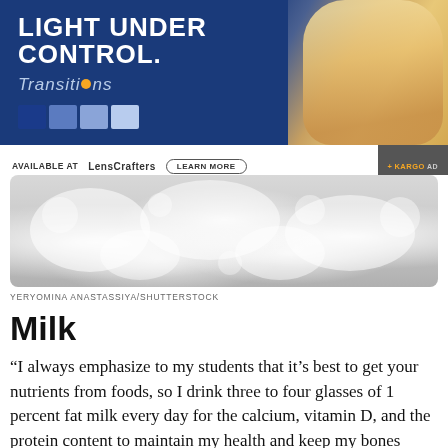[Figure (photo): Advertisement banner for Transitions lenses showing 'Light Under Control' text with Transitions brand logo and a woman wearing sunglasses, with color swatches. Available at LensCrafters with Learn More button and Kargo Ad badge.]
[Figure (photo): Close-up photo of white milk foam/bubbles on a light grey background.]
YERYOMINA ANASTASSIYA/SHUTTERSTOCK
Milk
“I always emphasize to my students that it’s best to get your nutrients from foods, so I drink three to four glasses of 1 percent fat milk every day for the calcium, vitamin D, and the protein content to maintain my health and keep my bones strong,” says Sandra Poirier, MS, professor of nutrition and